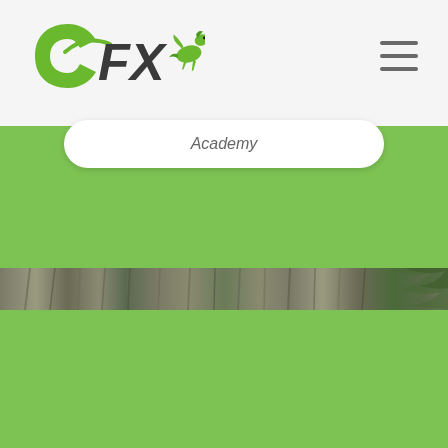[Figure (logo): CFX logo with green 'C' letter, stylized 'FX' text in dark gray/charcoal, and a green horse/pegasus figure to the right]
[Figure (other): Hamburger menu icon with three horizontal gray lines in top right corner of navigation bar]
Academy
[Figure (photo): Thin horizontal photo strip showing palm fronds and sandy/textured background in grayscale tones with some green foliage visible on the right side]
[Figure (other): Large green background section (sage/medium green color #7dc353) filling the lower portion of the page]